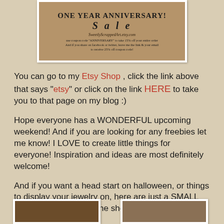[Figure (illustration): Anniversary sale banner image with vintage/antique background. Text reads: ONE YEAR ANNIVERSARY! SALE, SweetlyScrappedArt.etsy.com, use coupon code ANNIVERSARY to take 15% off your entire order, And if you share on facebook or twitter, leave me the link & your email to receive 25% off coupon code!]
You can go to my Etsy Shop , click the link above that says "etsy" or click on the link HERE to take you to that page on my blog :)
Hope everyone has a WONDERFUL upcoming weekend! And if you are looking for any freebies let me know! I LOVE to create little things for everyone! Inspiration and ideas are most definitely welcome!
And if you want a head start on halloween, or things to display your jewelry on, here are just a SMALL idea of what I have in the shop currently  :)
[Figure (photo): Photo of a dark decorative item, partially visible at bottom left]
[Figure (photo): Photo of straw/natural fiber material, partially visible at bottom right]